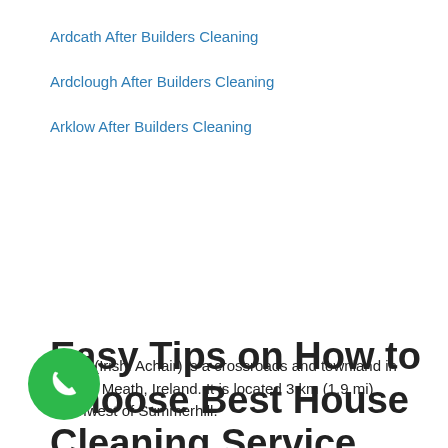Ardcath After Builders Cleaning
Ardclough After Builders Cleaning
Arklow After Builders Cleaning
Agher (Irish: Achair) is a crossroads and townland in County Meath, Ireland. It is located 3 km (1.9 mi) southwest of Summerhill.
The only retail outlet in Agher is the local convenience store, which is a post office as well. The Nangle family has owned the shop for over 200 years. The shop was there in the 18th century.
Easy Tips on How to Choose Best House Cleaning Service